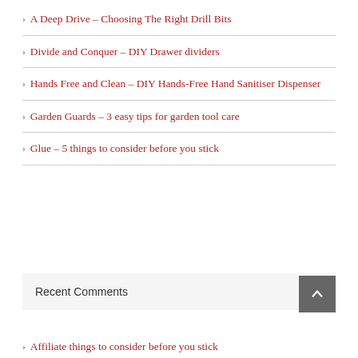A Deep Drive – Choosing The Right Drill Bits
Divide and Conquer – DIY Drawer dividers
Hands Free and Clean – DIY Hands-Free Hand Sanitiser Dispenser
Garden Guards – 3 easy tips for garden tool care
Glue – 5 things to consider before you stick
Recent Comments
Affiliate things to consider before you stick